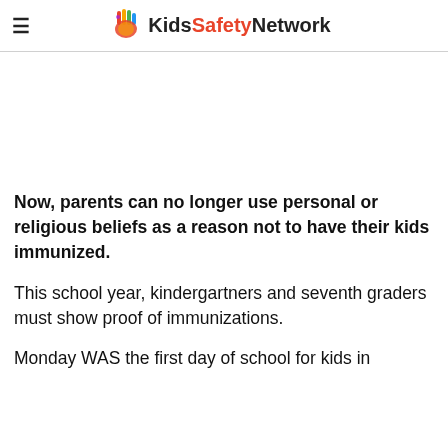KidsSafetyNetwork
Now, parents can no longer use personal or religious beliefs as a reason not to have their kids immunized.
This school year, kindergartners and seventh graders must show proof of immunizations.
Monday WAS the first day of school for kids in